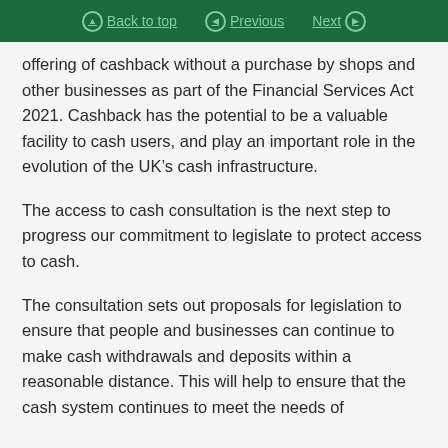Back to top | Previous | Next
offering of cashback without a purchase by shops and other businesses as part of the Financial Services Act 2021. Cashback has the potential to be a valuable facility to cash users, and play an important role in the evolution of the UK’s cash infrastructure.
The access to cash consultation is the next step to progress our commitment to legislate to protect access to cash.
The consultation sets out proposals for legislation to ensure that people and businesses can continue to make cash withdrawals and deposits within a reasonable distance. This will help to ensure that the cash system continues to meet the needs of